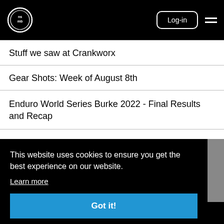NSMB logo, Log-in button, hamburger menu
Stuff we saw at Crankworx
Gear Shots: Week of August 8th
Enduro World Series Burke 2022 - Final Results and Recap
This website uses cookies to ensure you get the best experience on our website.
Learn more
Got it!
Get the latest industry news direct to your inbox